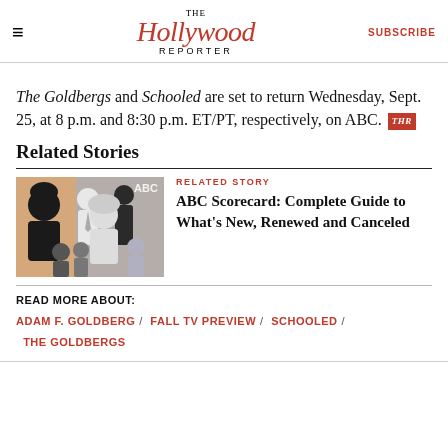The Hollywood Reporter | SUBSCRIBE
The Goldbergs and Schooled are set to return Wednesday, Sept. 25, at 8 p.m. and 8:30 p.m. ET/PT, respectively, on ABC.
Related Stories
RELATED STORY
[Figure (photo): Black and white collage of ABC TV show cast members on an orange/purple background, labeled ABC]
ABC Scorecard: Complete Guide to What's New, Renewed and Canceled
READ MORE ABOUT:
ADAM F. GOLDBERG / FALL TV PREVIEW / SCHOOLED / THE GOLDBERGS